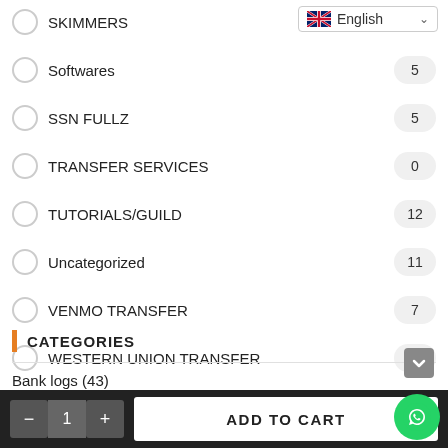SKIMMERS
Softwares — 5
SSN FULLZ — 5
TRANSFER SERVICES — 0
TUTORIALS/GUILD — 12
Uncategorized — 11
VENMO TRANSFER — 7
WESTERN UNION TRANSFER — 4
CATEGORIES
Bank logs (43)
carding (706)
CVV (187)